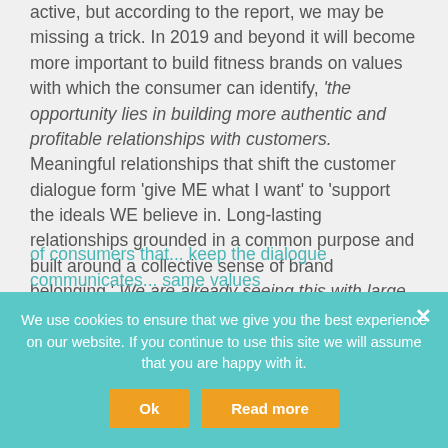active, but according to the report, we may be missing a trick. In 2019 and beyond it will become more important to build fitness brands on values with which the consumer can identify, 'the opportunity lies in building more authentic and profitable relationships with customers. Meaningful relationships that shift the customer dialogue form 'give ME what I want' to 'support the ideals WE believe in. Long-lasting relationships grounded in a common purpose and built around a collective sense of brand belonging.' We are already seeing this with large consumer brands such as Nike, Lululemon and
of consumers that... keep the dialogue communicates... same values
We use cookies to ensure that we give you the best experience on our website. If you continue to use this site we will assume that you are happy with it.